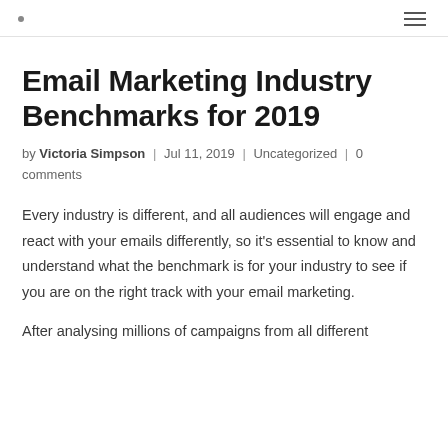· ≡
Email Marketing Industry Benchmarks for 2019
by Victoria Simpson | Jul 11, 2019 | Uncategorized | 0 comments
Every industry is different, and all audiences will engage and react with your emails differently, so it's essential to know and understand what the benchmark is for your industry to see if you are on the right track with your email marketing.
After analysing millions of campaigns from all different...